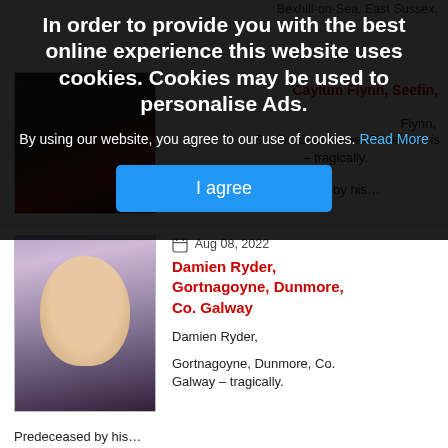[Figure (screenshot): Website screenshot showing obituary listings with a cookie consent overlay dialog. The overlay has a dark background and contains bold white text about cookie usage, a 'Read More' link, and a blue 'I agree' button. Behind the overlay are two obituary entries with photos: a partially visible one for Caylum Flynn and a visible one for Damien Ryder, Gortnagoyne, Dunmore, Co. Galway, dated Aug 08, 2022.]
In order to provide you with the best online experience this website uses cookies. Cookies may be used to personalise Ads.
By using our website, you agree to our use of cookies. Read More
I agree
Bexhill-on-Sea, East Sussex,
Caylum Flynn, Seefin,
Flynn,
Seefin, Scardaune, Claremorrris – tragically.
Predeceased by his…
Aug 08, 2022
Damien Ryder, Gortnagoyne, Dunmore, Co. Galway
Damien Ryder,
Gortnagoyne, Dunmore, Co. Galway – tragically.
Predeceased by his…